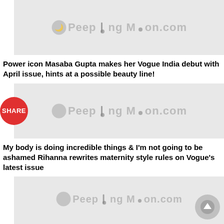[Figure (logo): PeepingMoon.com logo on grey background]
Power icon Masaba Gupta makes her Vogue India debut with April issue, hints at a possible beauty line!
[Figure (logo): PeepingMoon.com logo on grey background with SHARE button]
My body is doing incredible things & I'm not going to be ashamed Rihanna rewrites maternity style rules on Vogue's latest issue
[Figure (logo): PeepingMoon.com logo on grey background with up arrow button]